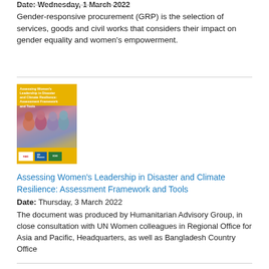Date: Wednesday, 1 March 2022
Gender-responsive procurement (GRP) is the selection of services, goods and civil works that considers their impact on gender equality and women's empowerment.
[Figure (illustration): Book cover with yellow background showing 'Assessing Women's Leadership in Disaster and Climate Resilience: Assessment Framework and Tools', with a photo of women in colorful headscarves and logos at the bottom.]
Assessing Women's Leadership in Disaster and Climate Resilience: Assessment Framework and Tools
Date: Thursday, 3 March 2022
The document was produced by Humanitarian Advisory Group, in close consultation with UN Women colleagues in Regional Office for Asia and Pacific, Headquarters, as well as Bangladesh Country Office